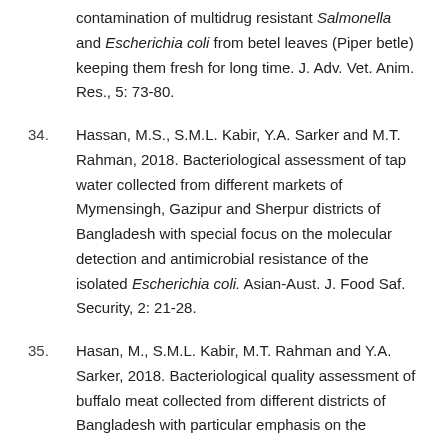contamination of multidrug resistant Salmonella and Escherichia coli from betel leaves (Piper betle) keeping them fresh for long time. J. Adv. Vet. Anim. Res., 5: 73-80.
34. Hassan, M.S., S.M.L. Kabir, Y.A. Sarker and M.T. Rahman, 2018. Bacteriological assessment of tap water collected from different markets of Mymensingh, Gazipur and Sherpur districts of Bangladesh with special focus on the molecular detection and antimicrobial resistance of the isolated Escherichia coli. Asian-Aust. J. Food Saf. Security, 2: 21-28.
35. Hasan, M., S.M.L. Kabir, M.T. Rahman and Y.A. Sarker, 2018. Bacteriological quality assessment of buffalo meat collected from different districts of Bangladesh with particular emphasis on the